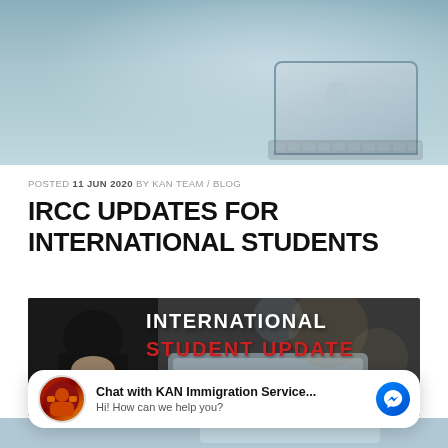[Figure (photo): Close-up photo of a silver Apple MacBook laptop from above, on a desk surface]
POSTED 11 JUN 2020 BY KAN TEAM / BLOG
IRCC UPDATES FOR INTERNATIONAL STUDENTS
[Figure (photo): Photo of a person sitting with hands clasped over a laptop, with text overlay reading INTERNATIONAL STUDENT UPDATE in white and red]
[Figure (screenshot): Facebook Messenger chat widget: Chat with KAN Immigration Service... Hi! How can we help you?]